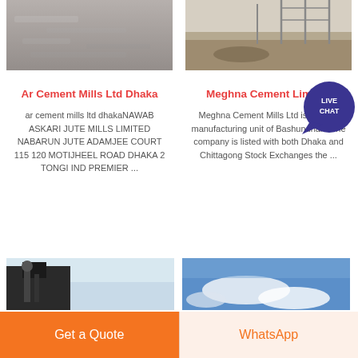[Figure (photo): Cement/concrete material texture - grey powder]
Ar Cement Mills Ltd Dhaka
ar cement mills ltd dhakaNAWAB ASKARI JUTE MILLS LIMITED NABARUN JUTE ADAMJEE COURT 115 120 MOTIJHEEL ROAD DHAKA 2 TONGI IND PREMIER ...
[Figure (photo): Construction site with steel structures and muddy ground]
Meghna Cement Limited
Meghna Cement Mills Ltd is the first manufacturing unit of Bashundhara The company is listed with both Dhaka and Chittagong Stock Exchanges the ...
[Figure (photo): Industrial machinery - partial view with dark equipment]
[Figure (photo): Blue sky with clouds - outdoor scene]